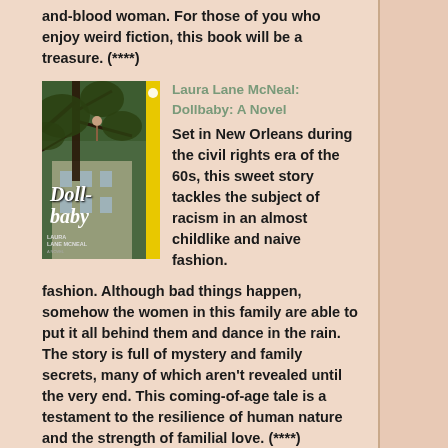and-blood woman. For those of you who enjoy weird fiction, this book will be a treasure. (****)
[Figure (photo): Book cover of Dollbaby: A Novel by Laura Lane McNeal, showing a figure in a tree against a Southern mansion background, with a yellow stripe on the right side]
Laura Lane McNeal: Dollbaby: A Novel Set in New Orleans during the civil rights era of the 60s, this sweet story tackles the subject of racism in an almost childlike and naive fashion. Although bad things happen, somehow the women in this family are able to put it all behind them and dance in the rain. The story is full of mystery and family secrets, many of which aren't revealed until the very end. This coming-of-age tale is a testament to the resilience of human nature and the strength of familial love. (****)
[Figure (photo): Book cover of a Wayward Pines Thriller by Blake Crouch, dark cover]
Blake Crouch: The Last